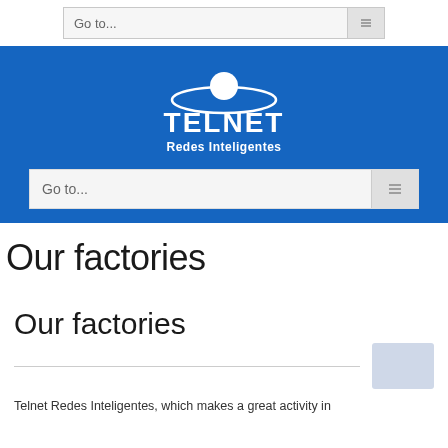Go to...
[Figure (logo): Telnet Redes Inteligentes logo on blue background — satellite/orbit icon above stylized TELNET text, subtitle Redes Inteligentes]
Our factories
Our factories
Telnet Redes Inteligentes, which makes a great activity in